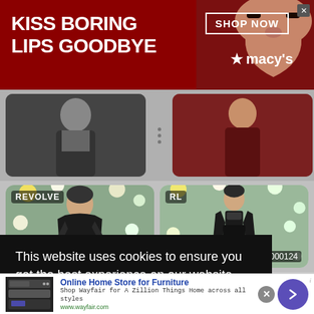[Figure (photo): Macy's advertisement banner with red background, woman's face with red lips, text 'KISS BORING LIPS GOODBYE', 'SHOP NOW' button, Macy's star logo]
[Figure (photo): Two small thumbnail cards with fashion images in a grid area]
[Figure (photo): Revolve branded fashion photo tile: woman in black outfit against floral background, ID 6000127]
[Figure (photo): RL branded fashion photo tile: woman in black outfit against floral background, ID 6000124]
This website uses cookies to ensure you get the best experience on our website.
Learn more
[Figure (photo): Wayfair advertisement: appliances image, 'Online Home Store for Furniture', 'Shop Wayfair for A Zillion Things Home across all styles', www.wayfair.com]